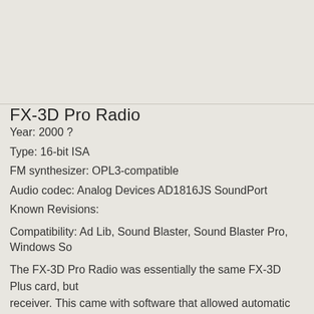FX-3D Pro Radio
Year: 2000 ?
Type: 16-bit ISA
FM synthesizer: OPL3-compatible
Audio codec: Analog Devices AD1816JS SoundPort
Known Revisions:
Compatibility: Ad Lib, Sound Blaster, Sound Blaster Pro, Windows So
The FX-3D Pro Radio was essentially the same FX-3D Plus card, but receiver. This came with software that allowed automatic scanning in 5 kHz steps across a frequency band of 87 - 108 MHz. You could for easier return to your favourite stations later. The software also a